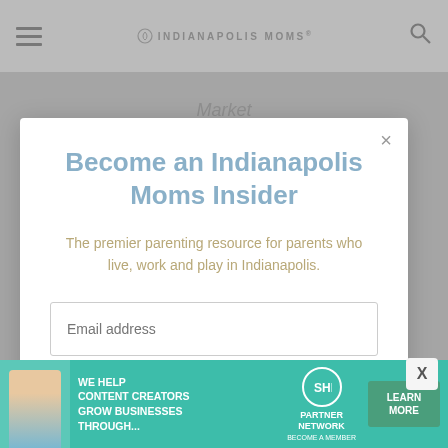Indianapolis Moms
Become an Indianapolis Moms Insider
The premier parenting resource for parents who live, work and play in Indianapolis.
Email address
Subscribe
[Figure (infographic): Bottom advertisement banner for SHE Media Partner Network reading: WE HELP CONTENT CREATORS GROW BUSINESSES THROUGH... BECOME A MEMBER, with LEARN MORE button]